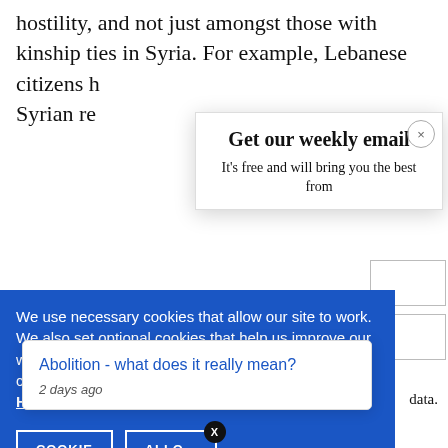hostility, and not just amongst those with kinship ties in Syria. For example, Lebanese citizens h Syrian re
Get our weekly email
It's free and will bring you the best from
We use necessary cookies that allow our site to work. We also set optional cookies that help us improve our website. For more information about the types of cookies we use. READ OUR COOKIES POLICY HERE
COOKIE
ALLOW
S
data.
already h
Abolition - what does it really mean?
2 days ago